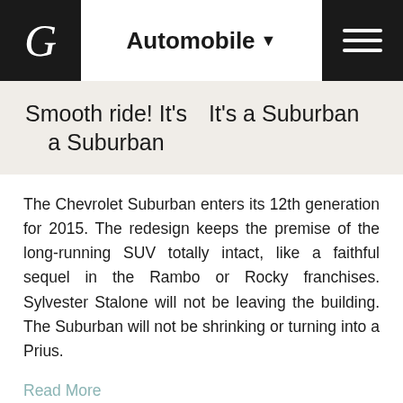Automobile
Smooth ride! It's a Suburban   It's a Suburban
The Chevrolet Suburban enters its 12th generation for 2015. The redesign keeps the premise of the long-running SUV totally intact, like a faithful sequel in the Rambo or Rocky franchises. Sylvester Stalone will not be leaving the building. The Suburban will not be shrinking or turning into a Prius.
Read More